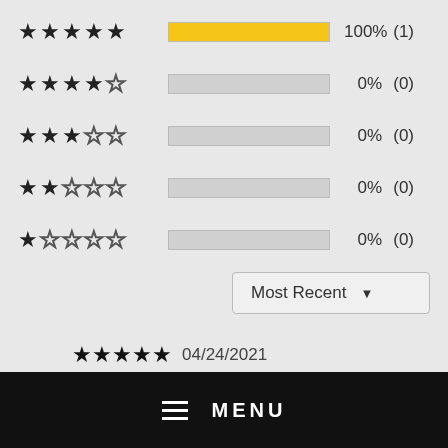[Figure (infographic): Star rating breakdown: 5 stars 100% (1), 4 stars 0% (0), 3 stars 0% (0), 2 stars 0% (0), 1 star 0% (0)]
Most Recent ▾
04/24/2021
Verified Sean M
Quality Product
Good quality product. Thanks Orthocure
MENU